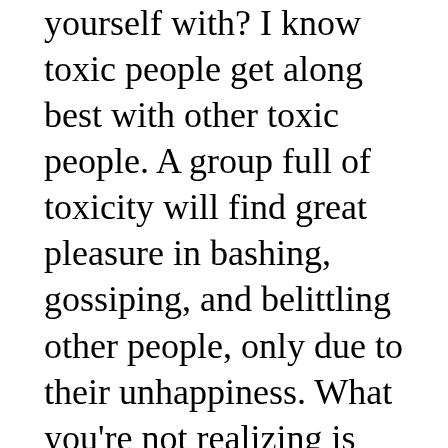yourself with? I know toxic people get along best with other toxic people. A group full of toxicity will find great pleasure in bashing, gossiping, and belittling other people, only due to their unhappiness. What you're not realizing is that the constant bitterness is only hurting you. Nine times out of ten, the person who you're so consumed with hating could care less. So, why have so much hate? I know that if you have children and you're exposing so much of your toxic self to them, they, in turn, become toxic. Sadly, what you don't see is that you are creating a negative image for your children to the outside world.